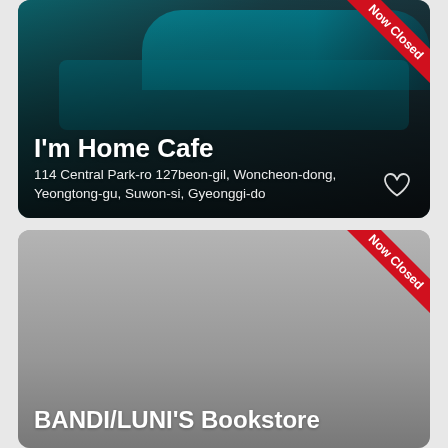[Figure (photo): Card showing I'm Home Cafe with a teal-toned retro cafe interior photo, overlaid with text and a 'Now Closed' red ribbon banner in the top-right corner, and a heart icon in the bottom-right]
I'm Home Cafe
114 Central Park-ro 127beon-gil, Woncheon-dong, Yeongtong-gu, Suwon-si, Gyeonggi-do
[Figure (photo): Card showing BANDI/LUNI'S Bookstore with a gray/muted background and a 'Now Closed' red ribbon banner in the top-right corner]
BANDI/LUNI'S Bookstore